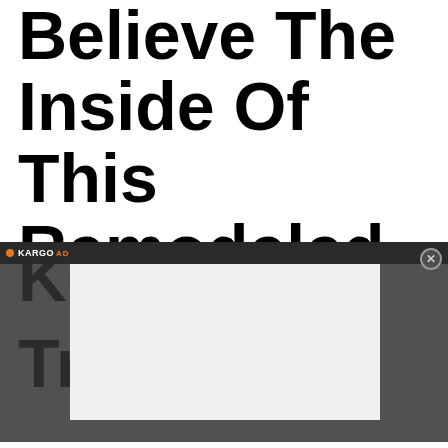You Won't Believe The Inside Of This Remodeled Kennedy Truck.
[Figure (screenshot): KARGO AD overlay with white rectangle ad unit and close button overlaying the bottom portion of the title text]